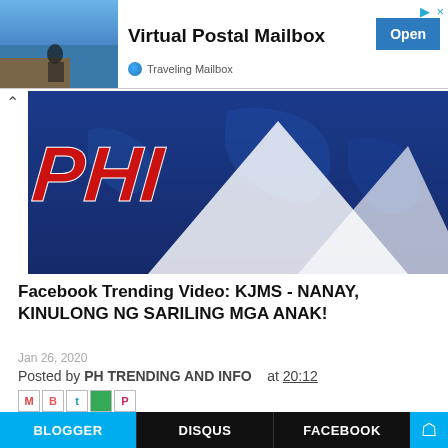[Figure (screenshot): Advertisement banner for Virtual Postal Mailbox / Traveling Mailbox with beach scene image, bold title, and blue Open button]
[Figure (photo): Philippine news hero banner with blue background, PHI text in red, white angular/mountain shapes, and map overlay]
Facebook Trending Video: KJMS - NANAY, KINULONG NG SARILING MGA ANAK!
Jan 26, 2020
Posted by PH TRENDING AND INFO    at 20:12
Labels: Trending
Subscribe to: Post Comments (Atom)
BLOGGER   DISQUS   FACEBOOK